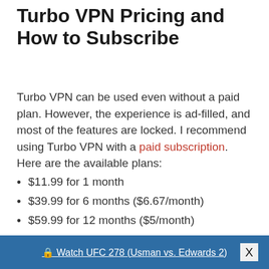Turbo VPN Pricing and How to Subscribe
Turbo VPN can be used even without a paid plan. However, the experience is ad-filled, and most of the features are locked. I recommend using Turbo VPN with a paid subscription. Here are the available plans:
$11.99 for 1 month
$39.99 for 6 months ($6.67/month)
$59.99 for 12 months ($5/month)
$99.99 for 24 months ($4.17/month)
🔒 Watch UFC 278 (Usman vs. Edwards 2)